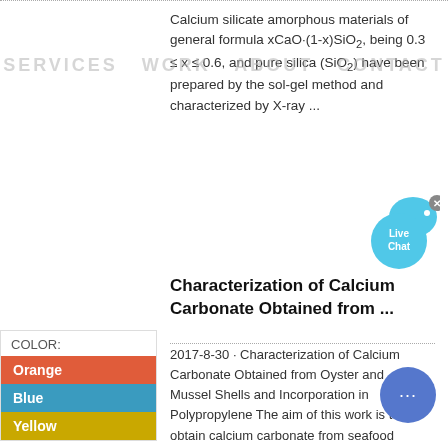Calcium silicate amorphous materials of general formula xCaO·(1-x)SiO2, being 0.3 ≤ x ≤ 0.6, and pure silica (SiO2) have been prepared by the sol-gel method and characterized by X-ray ...
Characterization of Calcium Carbonate Obtained from ...
2017-8-30 · Characterization of Calcium Carbonate Obtained from Oyster and Mussel Shells and Incorporation in Polypropylene The aim of this work is to obtain calcium carbonate from seafood (mussels and oyster) shells and demonstrate that this material can be reused as filler in polymer, based on...